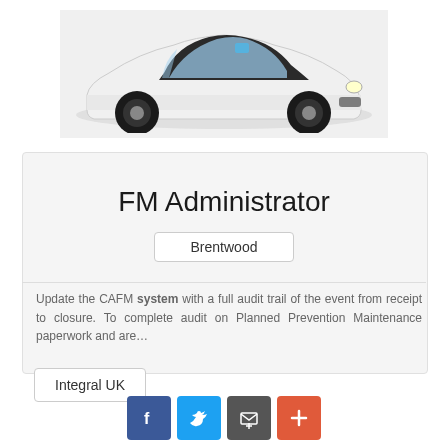[Figure (photo): White compact car (hatchback) photographed from front-right angle on white/light grey background]
FM Administrator
Brentwood
Update the CAFM system with a full audit trail of the event from receipt to closure. To complete audit on Planned Prevention Maintenance paperwork and are…
Integral UK